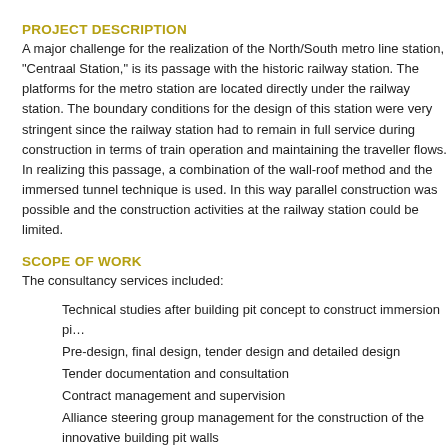PROJECT DESCRIPTION
A major challenge for the realization of the North/South metro line station, "Centraal Station," is its passage with the historic railway station. The platforms for the metro station are located directly under the railway station. The boundary conditions for the design of this station were very stringent since the railway station had to remain in full service during construction in terms of train operation and maintaining the traveller flows. In realizing this passage, a combination of the wall-roof method and the immersed tunnel technique is used. In this way parallel construction was possible and the construction activities at the railway station could be limited.
SCOPE OF WORK
The consultancy services included:
Technical studies after building pit concept to construct immersion pi...
Pre-design, final design, tender design and detailed design
Tender documentation and consultation
Contract management and supervision
Alliance steering group management for the construction of the innovative building pit walls